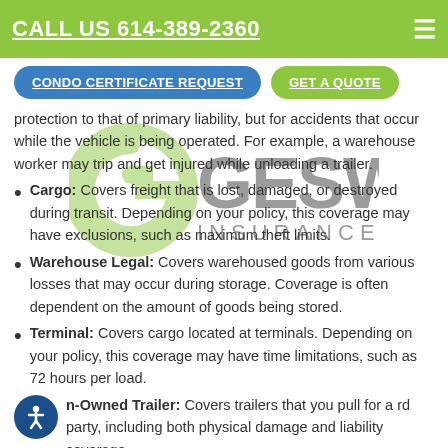CALL US 614-389-2360
[Figure (logo): Geswein Insurance Agency logo watermark with green G icon and dark text]
protection to that of primary liability, but for accidents that occur while the vehicle is being operated. For example, a warehouse worker may trip and get injured while unloading a trailer.
Cargo: Covers freight that is lost, damaged, or destroyed during transit. Depending on your policy, this coverage may have exclusions, such as maximum theft limits.
Warehouse Legal: Covers warehoused goods from various losses that may occur during storage. Coverage is often dependent on the amount of goods being stored.
Terminal: Covers cargo located at terminals. Depending on your policy, this coverage may have time limitations, such as 72 hours per load.
Non-Owned Trailer: Covers trailers that you pull for a third party, including both physical damage and liability coverage.
Non-Trucking Liability: Covers trucks and third-party